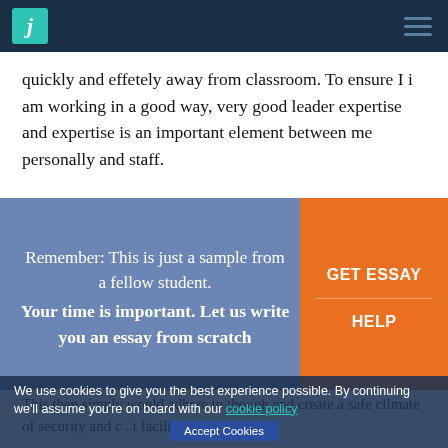J (logo) | navigation hamburger menu
quickly and effetely away from classroom. To ensure I i am working in a good way, very good leader expertise and expertise is an important element between me personally and staff.
[Figure (infographic): Blue promotional banner: 'Remember: This is just a sample from a fellow student. Your time is important. Let us write you an essay from scratch' with orange 'GET ESSAY HELP' button on the right]
This then simply would adhere to though and create a safe climate of security and c... facilitates students in
We use cookies to give you the best experience possible. By continuing we'll assume you're on board with our cookie policy
Accept Cookies